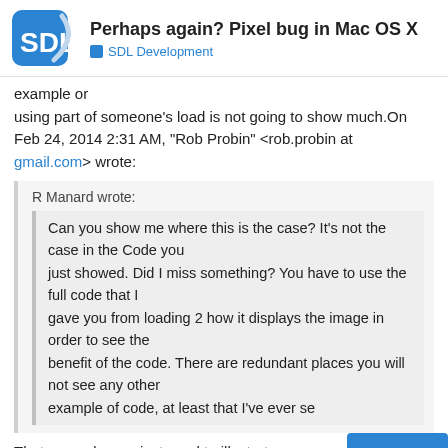Perhaps again? Pixel bug in Mac OS X — SDL Development
example or
using part of someone's load is not going to show much.On Feb 24, 2014 2:31 AM, "Rob Probin" <rob.probin at gmail.com> wrote:
R Manard wrote:

Can you show me where this is the case? It's not the case in the Code you just showed. Did I miss something? You have to use the full code that I gave you from loading 2 how it displays the image in order to see the benefit of the code. There are redundant places you will not see any other example of code, at least that I've ever se
That example was just used to illustrate
values got messed.